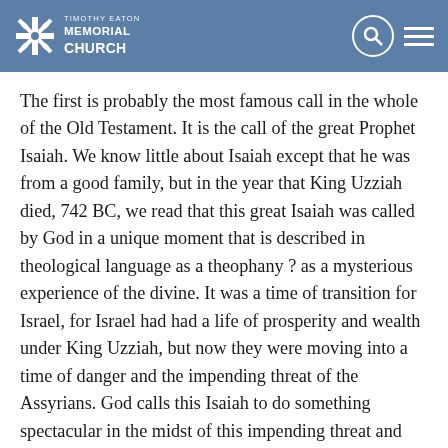Timothy Eaton Memorial Church
The first is probably the most famous call in the whole of the Old Testament. It is the call of the great Prophet Isaiah. We know little about Isaiah except that he was from a good family, but in the year that King Uzziah died, 742 BC, we read that this great Isaiah was called by God in a unique moment that is described in theological language as a theophany ? as a mysterious experience of the divine. It was a time of transition for Israel, for Israel had had a life of prosperity and wealth under King Uzziah, but now they were moving into a time of danger and the impending threat of the Assyrians. God calls this Isaiah to do something spectacular in the midst of this impending threat and the nature of the call is fascinating. We read that Isaiah was probably in the temple in Jerusalem, no doubt at the coronation ceremony of the new monarch. There he has a vision and a call from God. It is a magnificent vision, it is a vision that there are seraphim and angels, intermediaries, the likes of which you and I probably have